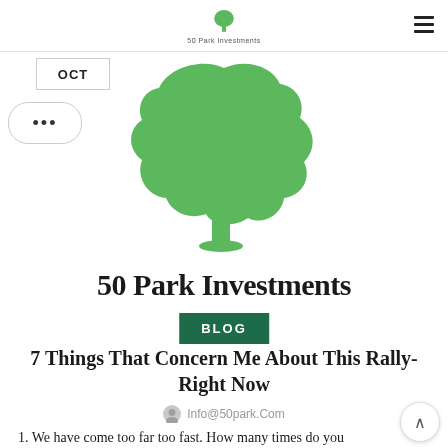50 Park Investments
[Figure (logo): Large green tree silhouette logo for 50 Park Investments, centered on the page]
50 Park Investments
BLOG
7 Things That Concern Me About This Rally-Right Now
Info@50park.Com
1. We have come too far too fast. How many times do you